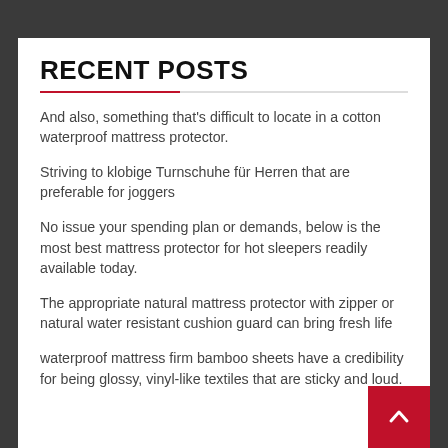RECENT POSTS
And also, something that’s difficult to locate in a cotton waterproof mattress protector.
Striving to klobige Turnschuhe für Herren that are preferable for joggers
No issue your spending plan or demands, below is the most best mattress protector for hot sleepers readily available today.
The appropriate natural mattress protector with zipper or natural water resistant cushion guard can bring fresh life
waterproof mattress firm bamboo sheets have a credibility for being glossy, vinyl-like textiles that are sticky and loud.